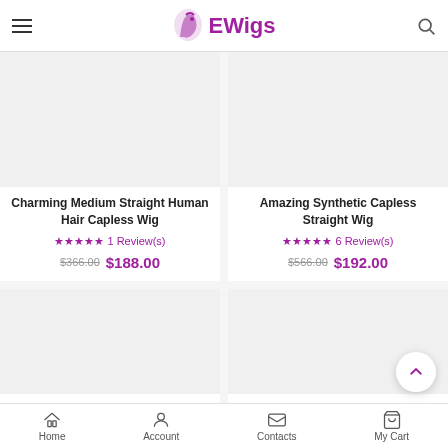EWigs
[Figure (photo): Product image placeholder for Charming Medium Straight Human Hair Capless Wig]
Charming Medium Straight Human Hair Capless Wig
★★★★★ 1 Review(s)
$366.00 $188.00
[Figure (photo): Product image placeholder for Amazing Synthetic Capless Straight Wig]
Amazing Synthetic Capless Straight Wig
★★★★★ 6 Review(s)
$566.00 $192.00
[Figure (photo): Product image placeholder - bottom left product]
[Figure (photo): Product image placeholder - bottom right product]
Home  Account  Contacts  My Cart